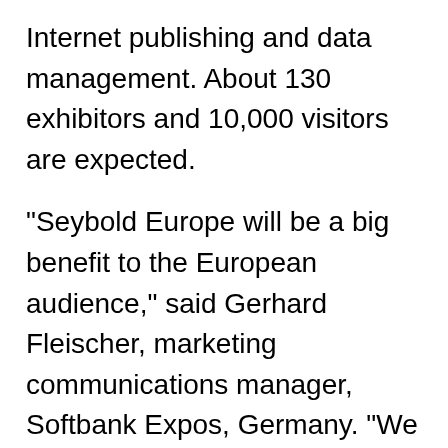Internet publishing and data management. About 130 exhibitors and 10,000 visitors are expected.
"Seybold Europe will be a big benefit to the European audience," said Gerhard Fleischer, marketing communications manager, Softbank Expos, Germany. "We won't just transfer US stuff; we'll look at the trends in Europe and act accordingly. For example, Web publishing is much more developed in the US. We can inform the European audience so they can plan their budgets accordingly."
Fleischer said Seybold Europe shouldn't be confused with the Paris show that was licensed under the Seybold name. "It wasn't good. It was a